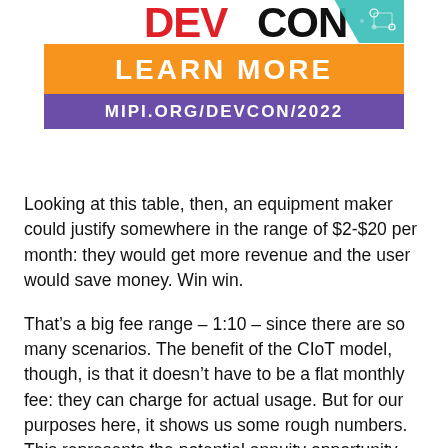[Figure (logo): DEVCON logo with DEV in red and CON in black, with a teal circuit-board graphic element in the top right corner. Below the logo is an orange bar reading LEARN MORE and a purple bar reading MIPI.ORG/DEVCON/2022.]
Looking at this table, then, an equipment maker could justify somewhere in the range of $2-$20 per month: they would get more revenue and the user would save money. Win win.
That’s a big fee range – 1:10 – since there are so many scenarios. The benefit of the CIoT model, though, is that it doesn’t have to be a flat monthly fee: they can charge for actual usage. But for our purposes here, it shows us some rough numbers. This represents the potential annuity opportunity.